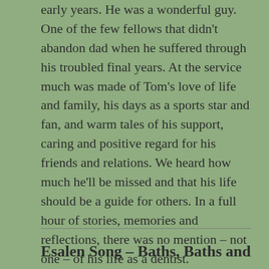early years. He was a wonderful guy. One of the few fellows that didn't abandon dad when he suffered through his troubled final years. At the service much was made of Tom's love of life and family, his days as a sports star and fan, and warm tales of his support, caring and positive regard for his friends and relations. We heard how much he'll be missed and that his life should be a guide for others. In a full hour of stories, memories and reflections, there was no mention – not one – of his life as a dentist.
Esalen Song – Baths, Baths and